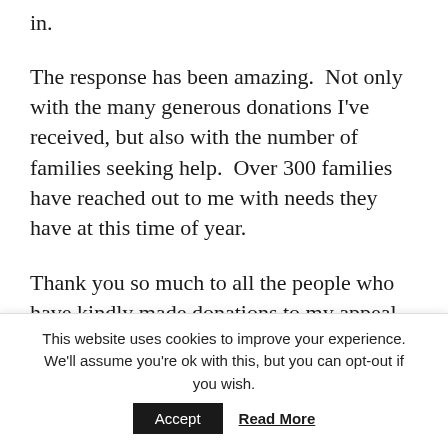in.
The response has been amazing.  Not only with the many generous donations I've received, but also with the number of families seeking help.  Over 300 families have reached out to me with needs they have at this time of year.
Thank you so much to all the people who have kindly made donations to my appeal.  Your generosity will go a long way to making sure families have something nice at Christmas.  If
This website uses cookies to improve your experience. We'll assume you're ok with this, but you can opt-out if you wish.
Accept
Read More